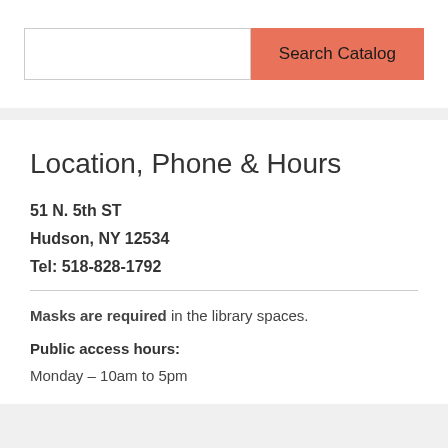[Figure (screenshot): Search bar with text input field and orange 'Search Catalog' button]
Location, Phone & Hours
51 N. 5th ST
Hudson, NY 12534
Tel: 518-828-1792
Masks are required in the library spaces.
Public access hours:
Monday – 10am to 5pm